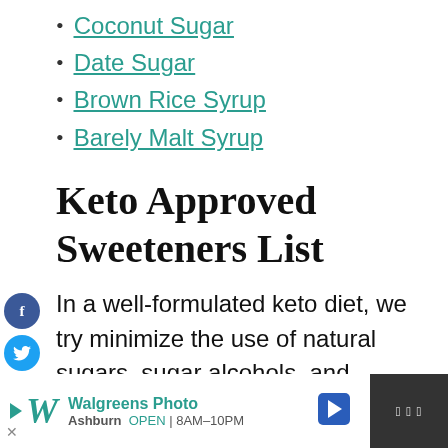Coconut Sugar
Date Sugar
Brown Rice Syrup
Barely Malt Syrup
Keto Approved Sweeteners List
In a well-formulated keto diet, we try minimize the use of natural sugars, sugar alcohols, and artificial sweeteners. Try to focus on eating nourishing whole foods,
[Figure (other): Walgreens Photo advertisement banner at bottom of page showing logo, store location in Ashburn, hours 8AM-10PM]
[Figure (other): Social share sidebar with Facebook, Twitter, Pinterest, and Yummly icons]